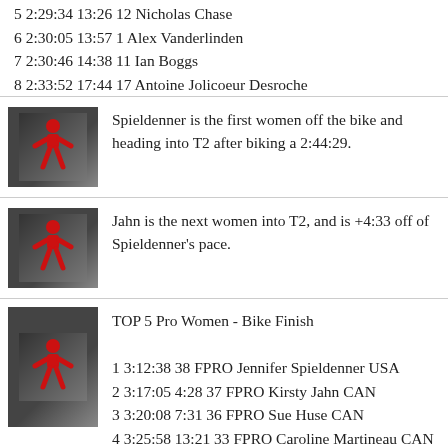5 2:29:34 13:26 12 Nicholas Chase
6 2:30:05 13:57 1 Alex Vanderlinden
7 2:30:46 14:38 11 Ian Boggs
8 2:33:52 17:44 17 Antoine Jolicoeur Desroche
Spieldenner is the first women off the bike and heading into T2 after biking a 2:44:29.
Jahn is the next women into T2, and is +4:33 off of Spieldenner's pace.
TOP 5 Pro Women - Bike Finish
1 3:12:38 38 FPRO Jennifer Spieldenner USA
2 3:17:05 4:28 37 FPRO Kirsty Jahn CAN
3 3:20:08 7:31 36 FPRO Sue Huse CAN
4 3:25:58 13:21 33 FPRO Caroline Martineau CAN
5 3:30:55 18:17 32 FPRO Jennifer Lentzke CAN